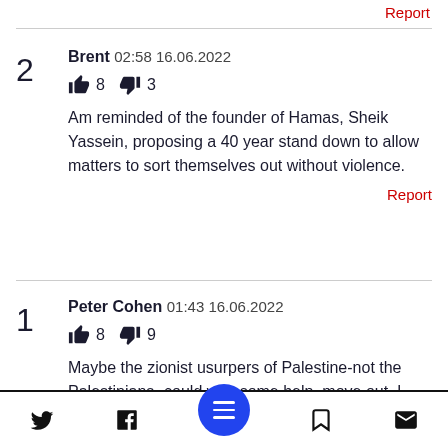Report
2 — Brent 02:58 16.06.2022 | 👍 8 👎 3 | Am reminded of the founder of Hamas, Sheik Yassein, proposing a 40 year stand down to allow matters to sort themselves out without violence.
Report
1 — Peter Cohen 01:43 16.06.2022 | 👍 8 👎 9 | Maybe the zionist usurpers of Palestine-not the Palestinians- could with some help, move out. I have my proposal of how to do that